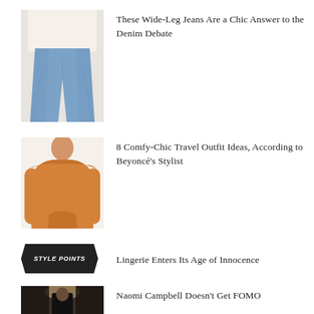[Figure (photo): Person wearing wide-leg blue jeans with a white oversized jacket]
These Wide-Leg Jeans Are a Chic Answer to the Denim Debate
[Figure (photo): Person wearing an orange off-shoulder long-sleeve bodysuit]
8 Comfy-Chic Travel Outfit Ideas, According to Beyoncé's Stylist
[Figure (logo): Style Points badge — dark hexagonal/arrow shaped badge with italic text]
Lingerie Enters Its Age of Innocence
[Figure (photo): Naomi Campbell in dark hallway wearing black outfit]
Naomi Campbell Doesn't Get FOMO